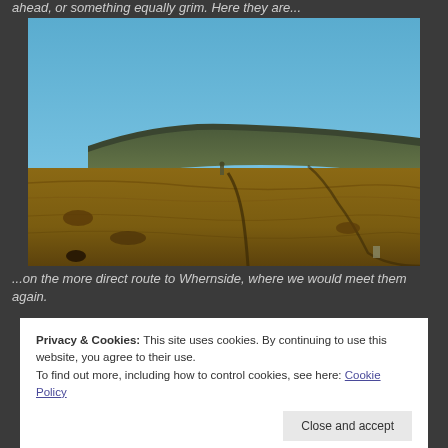ahead, or something equally grim. Here they are...
[Figure (photo): Landscape photograph of open moorland with brown grasses and a flat-topped hill or plateau in the background under a clear blue sky. A small figure of a person is visible in the middle distance.]
...on the more direct route to Whernside, where we would meet them again.
Privacy & Cookies: This site uses cookies. By continuing to use this website, you agree to their use.
To find out more, including how to control cookies, see here: Cookie Policy